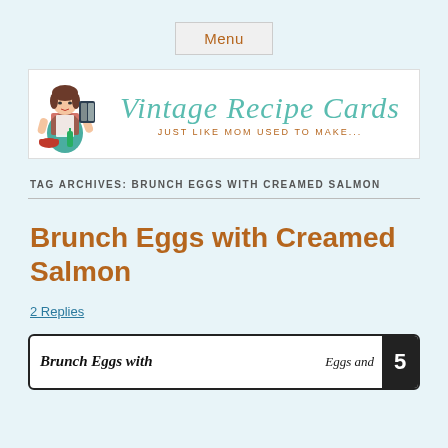Menu
[Figure (illustration): Vintage Recipe Cards website banner with a retro illustration of a woman reading a cookbook, logo text 'Vintage Recipe Cards' in teal cursive, and tagline 'JUST LIKE MOM USED TO MAKE...' in brown]
TAG ARCHIVES: BRUNCH EGGS WITH CREAMED SALMON
Brunch Eggs with Creamed Salmon
2 Replies
[Figure (photo): Partial view of a vintage recipe card titled 'Brunch Eggs with' showing 'Eggs and' text on the right side]